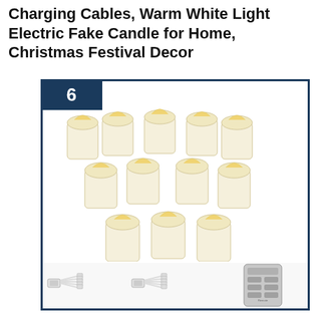Charging Cables, Warm White Light Electric Fake Candle for Home, Christmas Festival Decor
[Figure (photo): Product listing image showing 12 rechargeable flameless LED tea light candles with warm white glow arranged in a triangular pattern, accompanied by two USB charging cable sets and a remote control. The product is shown in a white box with a dark navy blue border and a number badge '6' in the top-left corner.]